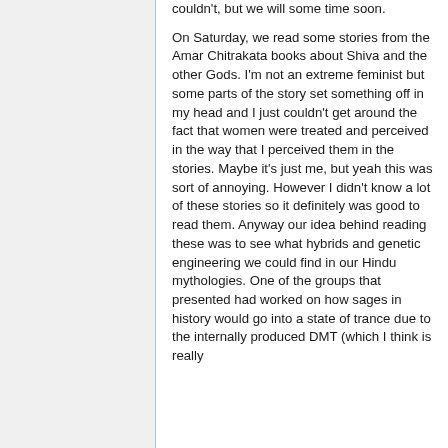couldn't, but we will some time soon. On Saturday, we read some stories from the Amar Chitrakata books about Shiva and the other Gods. I'm not an extreme feminist but some parts of the story set something off in my head and I just couldn't get around the fact that women were treated and perceived in the way that I perceived them in the stories. Maybe it's just me, but yeah this was sort of annoying. However I didn't know a lot of these stories so it definitely was good to read them. Anyway our idea behind reading these was to see what hybrids and genetic engineering we could find in our Hindu mythologies. One of the groups that presented had worked on how sages in history would go into a state of trance due to the internally produced DMT (which I think is really